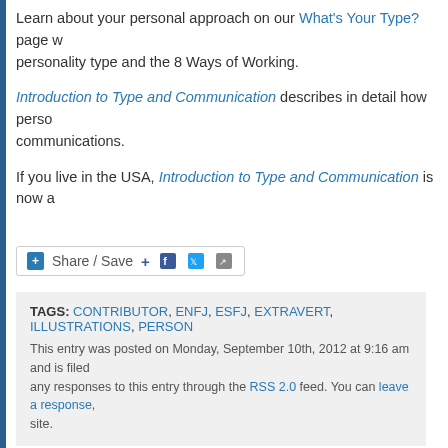Learn about your personal approach on our What's Your Type? page w... personality type and the 8 Ways of Working.
Introduction to Type and Communication describes in detail how perso... communications.
If you live in the USA, Introduction to Type and Communication is now a...
[Figure (other): Share / Save social sharing button bar with Facebook, Twitter and share icons]
TAGS: CONTRIBUTOR, ENFJ, ESFJ, EXTRAVERT, ILLUSTRATIONS, PERSON...
This entry was posted on Monday, September 10th, 2012 at 9:16 am and is filed ... any responses to this entry through the RSS 2.0 feed. You can leave a response, ... site.
PREVIOUS: WHAT MIGHT BE A CHALLENGE FOR AN INFP?
NEXT: TYPE S...
Leave a Reply
Name (required)